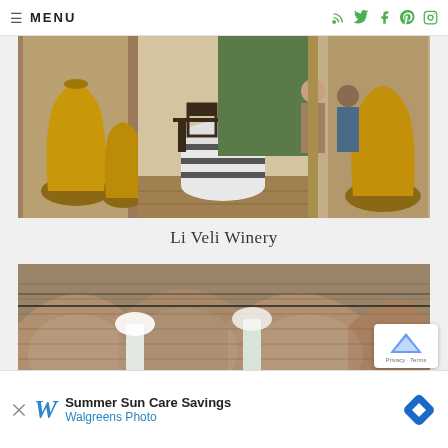≡ MENU
[Figure (photo): Interior of Li Veli Winery showing stone arch hallway with large terracotta urns, wooden furniture, striped barrel in center, and visitors in background]
Li Veli Winery
[Figure (photo): Underground barrel cellar of Li Veli Winery with stone brick arched ceilings, white lit columns, and rows of wooden wine barrels]
[Figure (other): Walgreens Summer Sun Care Savings advertisement banner with Walgreens Photo logo and blue diamond icon]